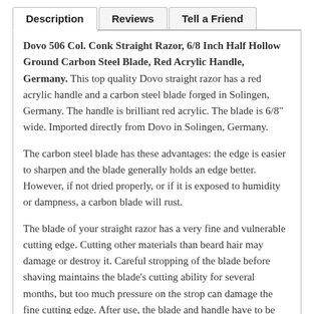Description | Reviews | Tell a Friend
Dovo 506 Col. Conk Straight Razor, 6/8 Inch Half Hollow Ground Carbon Steel Blade, Red Acrylic Handle, Germany. This top quality Dovo straight razor has a red acrylic handle and a carbon steel blade forged in Solingen, Germany. The handle is brilliant red acrylic. The blade is 6/8" wide. Imported directly from Dovo in Solingen, Germany.
The carbon steel blade has these advantages: the edge is easier to sharpen and the blade generally holds an edge better. However, if not dried properly, or if it is exposed to humidity or dampness, a carbon blade will rust.
The blade of your straight razor has a very fine and vulnerable cutting edge. Cutting other materials than beard hair may damage or destroy it. Careful stropping of the blade before shaving maintains the blade's cutting ability for several months, but too much pressure on the strop can damage the fine cutting edge. After use, the blade and handle have to be cleaned and dried carefully. In case of long term storage, the blade should be lubricated and entirely covered by oil.